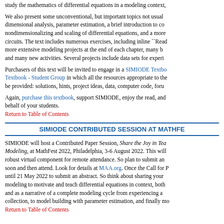study the mathematics of differential equations in a modeling context,
We also present some unconventional, but important topics not usually covered: dimensional analysis, parameter estimation, a brief introduction to control theory, nondimensionalizing and scaling of differential equations, and a more thorough coverage of circuits. The text includes numerous exercises, including inline ``Read and Do'' exercises, more extensive modeling projects at the end of each chapter, many brand new exercises, and many new activities. Several projects include data sets for experimentation.
Purchasers of this text will be invited to engage in a SIMIODE Textbook - Student Group in which all the resources appropriate to the course will be provided: solutions, hints, project ideas, data, computer code, foru
Again, purchase this textbook, support SIMIODE, enjoy the read, and behalf of your students.
Return to Table of Contents
SIMIODE CONTRIBUTED SESSION AT MATHFE
SIMIODE will host a Contributed Paper Session, Share the Joy in Teaching with Modeling, at MathFest 2022, Philadelphia, 3-6 August 2022. This will have a robust virtual component for remote attendance. So plan to submit an abstract soon and then attend. Look for details at MAA.org. Once the Call for Papers opens, until 21 May 2022 to submit an abstract. So think about sharing your use of modeling to motivate and teach differential equations in context, both as a model and as a narrative of a complete modeling cycle from experiencing a phenomenon, data collection, to model building with parameter estimation, and finally mo
Return to Table of Contents